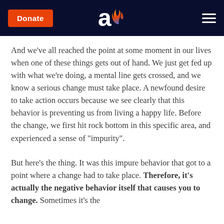Donate | [Aish logo] | [Menu]
And we've all reached the point at some moment in our lives when one of these things gets out of hand. We just get fed up with what we're doing, a mental line gets crossed, and we know a serious change must take place. A newfound desire to take action occurs because we see clearly that this behavior is preventing us from living a happy life. Before the change, we first hit rock bottom in this specific area, and experienced a sense of "impurity".
But here's the thing. It was this impure behavior that got to a point where a change had to take place. Therefore, it's actually the negative behavior itself that causes you to change. Sometimes it's the